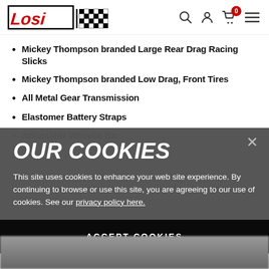Losi logo and navigation header
Mickey Thompson branded Large Rear Drag Racing Slicks
Mickey Thompson branded Low Drag, Front Tires
All Metal Gear Transmission
Elastomer Battery Straps
OUR COOKIES
This site uses cookies to enhance your web site experience. By continuing to browse or use this site, you are agreeing to our use of cookies. See our privacy policy here.
ACCEPT COOKIES